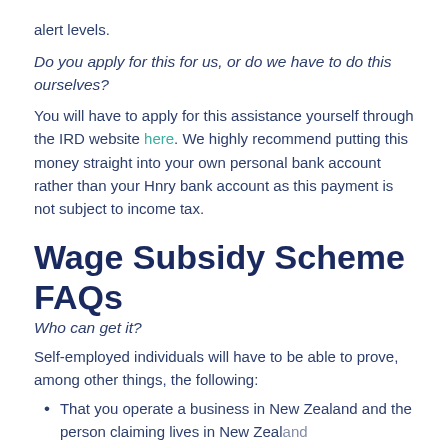alert levels.
Do you apply for this for us, or do we have to do this ourselves?
You will have to apply for this assistance yourself through the IRD website here. We highly recommend putting this money straight into your own personal bank account rather than your Hnry bank account as this payment is not subject to income tax.
Wage Subsidy Scheme FAQs
Who can get it?
Self-employed individuals will have to be able to prove, among other things, the following:
That you operate a business in New Zealand and the person claiming lives in New Zealand